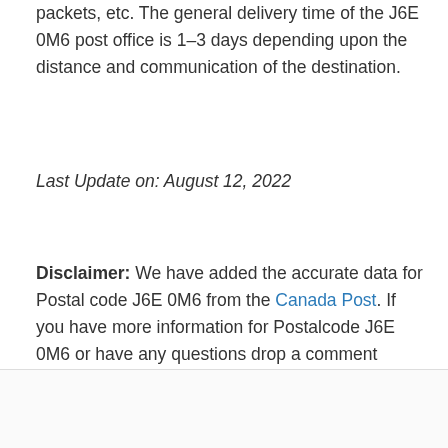packets, etc. The general delivery time of the J6E 0M6 post office is 1–3 days depending upon the distance and communication of the destination.
Last Update on: August 12, 2022
Disclaimer: We have added the accurate data for Postal code J6E 0M6 from the Canada Post. If you have more information for Postalcode J6E 0M6 or have any questions drop a comment below, or contact us.
[Figure (photo): Circular avatar photo of a person with dark hair, cropped in a circle.]